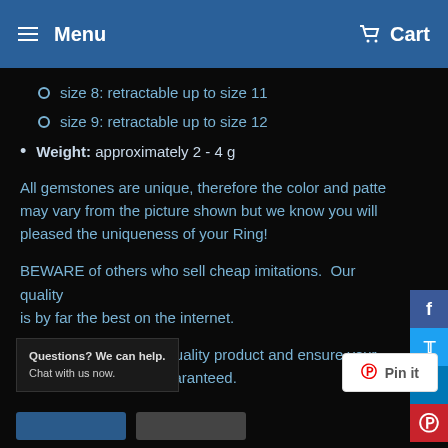Menu  Cart
size 8: retractable up to size 11
size 9: retractable up to size 12
Weight: approximately 2 - 4 g
All gemstones are unique, therefore the color and pattern may vary from the picture shown but we know you will be pleased the uniqueness of your Ring!
BEWARE of others who sell cheap imitations.  Our quality is by far the best on the internet.
We stand by our high-quality product and ensure your satisfaction is 100% guaranteed.
Questions? We can help.
Chat with us now.